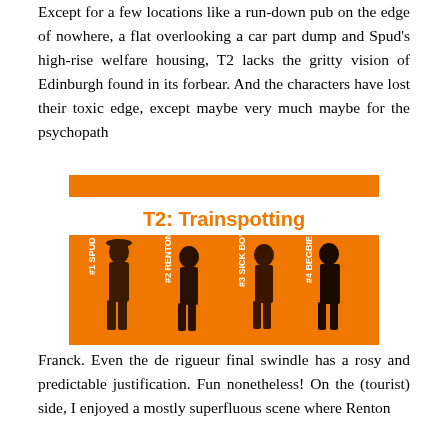Except for a few locations like a run-down pub on the edge of nowhere, a flat overlooking a car part dump and Spud's high-rise welfare housing, T2 lacks the gritty vision of Edinburgh found in its forbear. And the characters have lost their toxic edge, except maybe very much maybe for the psychopath
[Figure (illustration): T2: Trainspotting movie poster with orange background showing four male silhouettes labeled #1 SPUD, #2 RENTON, #3 SICK BOY, #4 BEGBIE in white vertical text]
Franck. Even the de rigueur final swindle has a rosy and predictable justification. Fun nonetheless! On the (tourist) side, I enjoyed a mostly superfluous scene where Renton